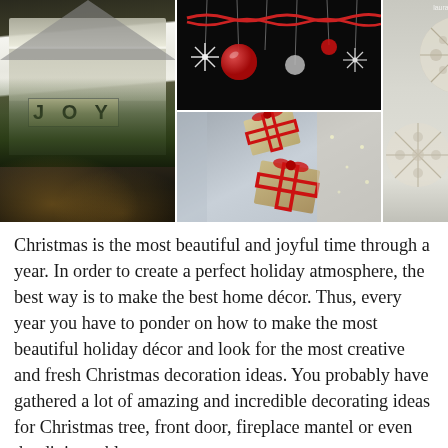[Figure (photo): Collage of four Christmas decoration photos: (1) white house exterior decorated with JOY letters in window and garland lights, (2) hanging Christmas ornaments and snowflakes on dark background, (3) wrapped gift boxes floating/suspended, (4) large decorative paper snowflakes in a window. Watermark: laura Howard, budsandfishes blog]
Christmas is the most beautiful and joyful time through a year. In order to create a perfect holiday atmosphere, the best way is to make the best home décor. Thus, every year you have to ponder on how to make the most beautiful holiday décor and look for the most creative and fresh Christmas decoration ideas. You probably have gathered a lot of amazing and incredible decorating ideas for Christmas tree, front door, fireplace mantel or even the dining table.